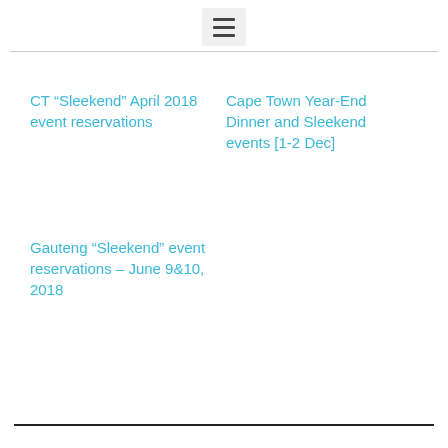Navigation menu icon
CT “Sleekend” April 2018 event reservations
Cape Town Year-End Dinner and Sleekend events [1-2 Dec]
Gauteng “Sleekend” event reservations – June 9&10, 2018